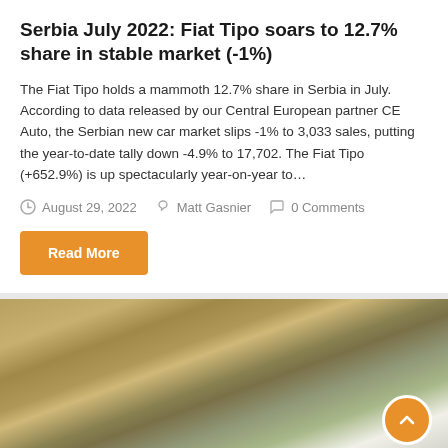Serbia July 2022: Fiat Tipo soars to 12.7% share in stable market (-1%)
The Fiat Tipo holds a mammoth 12.7% share in Serbia in July. According to data released by our Central European partner CE Auto, the Serbian new car market slips -1% to 3,033 sales, putting the year-to-date tally down -4.9% to 17,702. The Fiat Tipo (+652.9%) is up spectacularly year-on-year to…
August 29, 2022   Matt Gasnier   0 Comments
Read More
[Figure (photo): Car driving along a rocky cliffside road, motion blur on the rocks in the background]